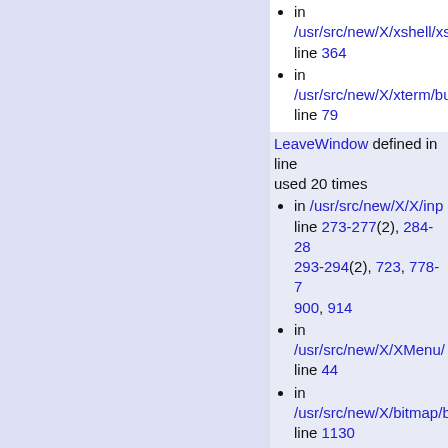in /usr/src/new/X/xshell/xs... line 364
in /usr/src/new/X/xterm/bu... line 79
LeaveWindow defined in line ... used 20 times
in /usr/src/new/X/X/inp... line 273-277(2), 284-28... 293-294(2), 723, 778-7... 900, 914
in /usr/src/new/X/XMenu/... line 44
in /usr/src/new/X/bitmap/b... line 1130
in /usr/src/new/X/bitmap/o... line 132
in /usr/src/new/X/hacks/be... line 245
in /usr/src/new/X/libnes...